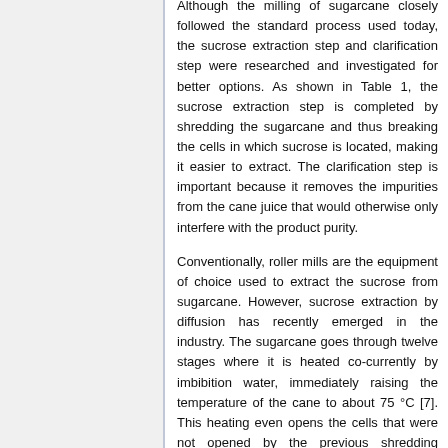Although the milling of sugarcane closely followed the standard process used today, the sucrose extraction step and clarification step were researched and investigated for better options. As shown in Table 1, the sucrose extraction step is completed by shredding the sugarcane and thus breaking the cells in which sucrose is located, making it easier to extract. The clarification step is important because it removes the impurities from the cane juice that would otherwise only interfere with the product purity.
Conventionally, roller mills are the equipment of choice used to extract the sucrose from sugarcane. However, sucrose extraction by diffusion has recently emerged in the industry. The sugarcane goes through twelve stages where it is heated co-currently by imbibition water, immediately raising the temperature of the cane to about 75 °C [7]. This heating even opens the cells that were not opened by the previous shredding process. Another advantage of this heating is that sugar destroying bacteria cannot